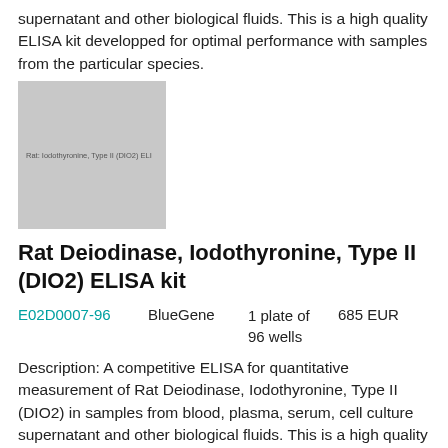supernatant and other biological fluids. This is a high quality ELISA kit developped for optimal performance with samples from the particular species.
[Figure (photo): Product image placeholder for Rat Deiodinase, Iodothyronine, Type II (DIO2) ELISA kit]
Rat Deiodinase, Iodothyronine, Type II (DIO2) ELISA kit
E02D0007-96   BlueGene   1 plate of 96 wells   685 EUR
Description: A competitive ELISA for quantitative measurement of Rat Deiodinase, Iodothyronine, Type II (DIO2) in samples from blood, plasma, serum, cell culture supernatant and other biological fluids. This is a high quality ELISA kit developped for optimal performance with samples from the particular species.
[Figure (photo): Product image placeholder (bottom, partial)]